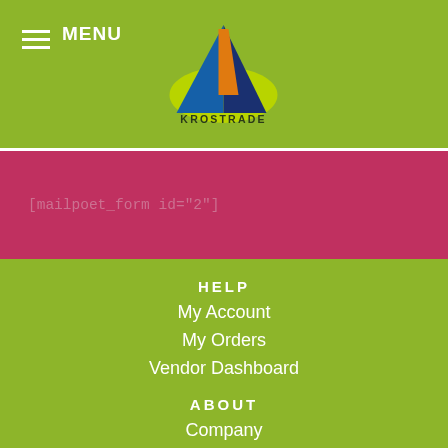MENU
[Figure (logo): KROSTRADE logo with colorful triangle sail/mountain graphic and green arc, text KROSTRADE below]
[mailpoet_form id="2"]
HELP
My Account
My Orders
Vendor Dashboard
ABOUT
Company
Contact Us
FOLLOW US